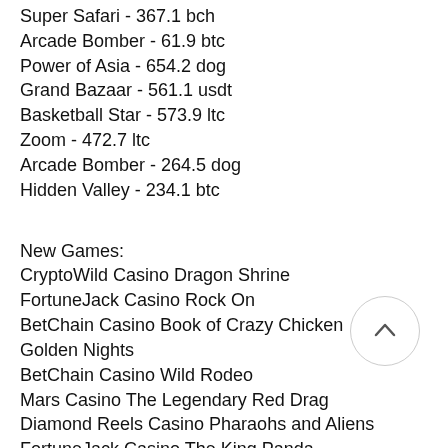Super Safari - 367.1 bch
Arcade Bomber - 61.9 btc
Power of Asia - 654.2 dog
Grand Bazaar - 561.1 usdt
Basketball Star - 573.9 ltc
Zoom - 472.7 ltc
Arcade Bomber - 264.5 dog
Hidden Valley - 234.1 btc
New Games:
CryptoWild Casino Dragon Shrine
FortuneJack Casino Rock On
BetChain Casino Book of Crazy Chicken Golden Nights
BetChain Casino Wild Rodeo
Mars Casino The Legendary Red Drag…
Diamond Reels Casino Pharaohs and Aliens
FortuneJack Casino The King Panda
OneHash Monster Munchies
Syndicate Casino Golden Tour
CryptoGames Hot Ink